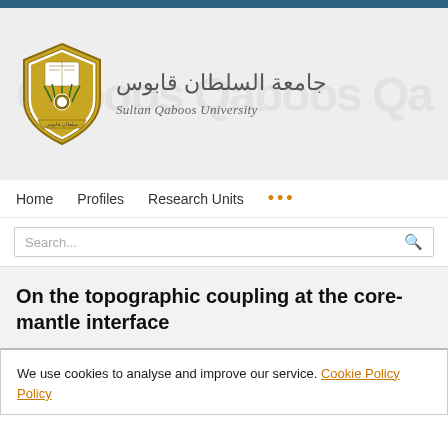[Figure (logo): Sultan Qaboos University shield logo with Arabic and English university name]
Sultan Qaboos University - جامعة السلطان قابوس
Home   Profiles   Research Units   ...
Search...
On the topographic coupling at the core-mantle interface
We use cookies to analyse and improve our service. Cookie Policy